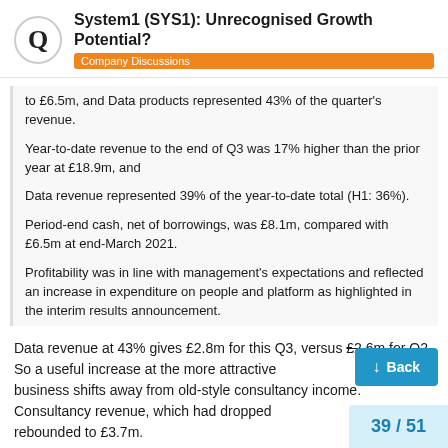System1 (SYS1): Unrecognised Growth Potential? — Company Discussions
to £6.5m, and Data products represented 43% of the quarter's revenue.
Year-to-date revenue to the end of Q3 was 17% higher than the prior year at £18.9m, and
Data revenue represented 39% of the year-to-date total (H1: 36%).
Period-end cash, net of borrowings, was £8.1m, compared with £6.5m at end-March 2021.
Profitability was in line with management's expectations and reflected an increase in expenditure on people and platform as highlighted in the interim results announcement.
Data revenue at 43% gives £2.8m for this Q3, versus £2.6m for Q2. So a useful increase at the more attractive [rate] as the business shifts away from old-style consultancy income. Consultancy revenue, which had dropped [previously], rebounded to £3.7m.
39 / 51